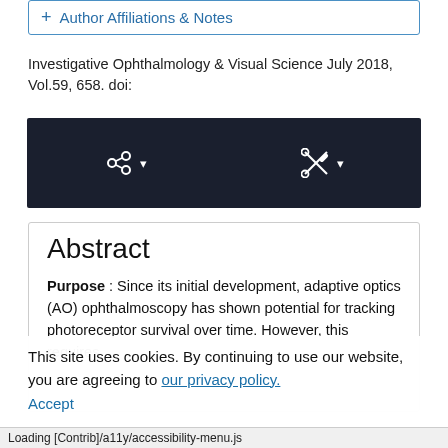+ Author Affiliations & Notes
Investigative Ophthalmology & Visual Science July 2018, Vol.59, 658. doi:
[Figure (screenshot): Dark toolbar with share icon (network nodes) and tools icon (wrench/scissors) each with dropdown arrows]
Abstract
Purpose : Since its initial development, adaptive optics (AO) ophthalmoscopy has shown potential for tracking photoreceptor survival over time. However, this requires
This site uses cookies. By continuing to use our website, you are agreeing to our privacy policy. Accept
Loading [Contrib]/a11y/accessibility-menu.js